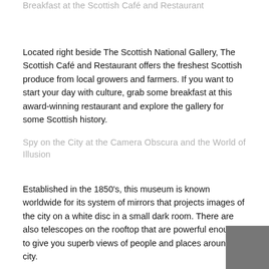Breakfast at the Scottish Café and Restaurant
Located right beside The Scottish National Gallery, The Scottish Café and Restaurant offers the freshest Scottish produce from local growers and farmers. If you want to start your day with culture, grab some breakfast at this award-winning restaurant and explore the gallery for some Scottish history.
Spy on the City at the Camera Obscura and the World of Illusion
Established in the 1850's, this museum is known worldwide for its system of mirrors that projects images of the city on a white disc in a small dark room. There are also telescopes on the rooftop that are powerful enough to give you superb views of people and places around the city.